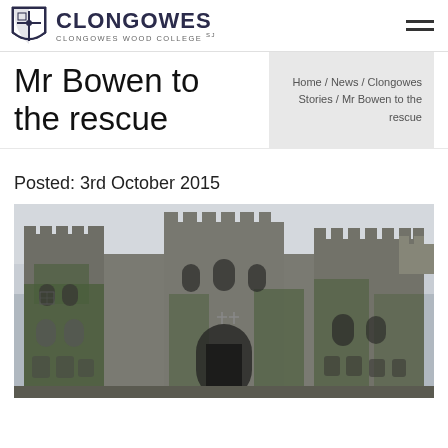CLONGOWES — Clongowes Wood College SJ
Mr Bowen to the rescue
Home / News / Clongowes Stories / Mr Bowen to the rescue
Posted: 3rd October 2015
[Figure (photo): Photograph of Clongowes Wood College castle building, a large grey stone castle covered in ivy, with battlements and arched windows.]